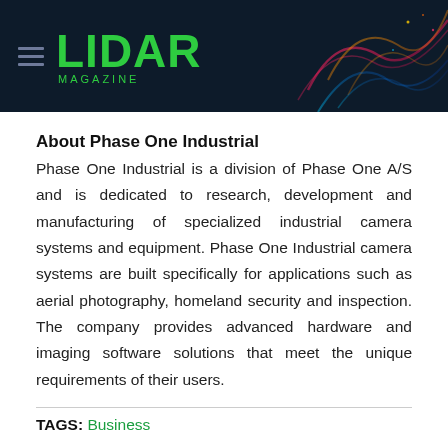LIDAR MAGAZINE
About Phase One Industrial
Phase One Industrial is a division of Phase One A/S and is dedicated to research, development and manufacturing of specialized industrial camera systems and equipment. Phase One Industrial camera systems are built specifically for applications such as aerial photography, homeland security and inspection. The company provides advanced hardware and imaging software solutions that meet the unique requirements of their users.
TAGS: Business